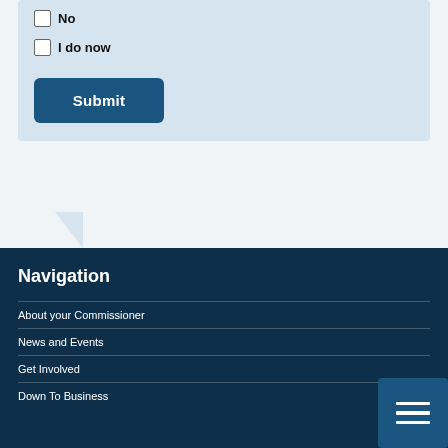No
I do now
Submit
Navigation
About your Commissioner
News and Events
Get Involved
Down To Business